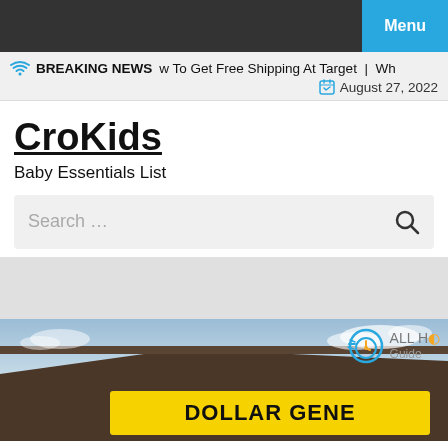Menu
BREAKING NEWS  w To Get Free Shipping At Target | Wh  August 27, 2022
CroKids
Baby Essentials List
Search …
[Figure (photo): Dollar General store exterior sign with yellow and black lettering, photographed from below against a partly cloudy sky. An 'All Hours Guide' badge overlay appears in the upper right corner of the image.]